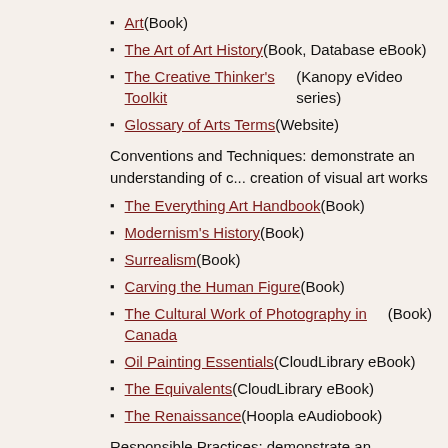Art (Book)
The Art of Art History (Book, Database eBook)
The Creative Thinker's Toolkit (Kanopy eVideo series)
Glossary of Arts Terms (Website)
Conventions and Techniques: demonstrate an understanding of c... creation of visual art works
The Everything Art Handbook (Book)
Modernism's History (Book)
Surrealism (Book)
Carving the Human Figure (Book)
The Cultural Work of Photography in Canada (Book)
Oil Painting Essentials (CloudLibrary eBook)
The Equivalents (CloudLibrary eBook)
The Renaissance (Hoopla eAudiobook)
Responsible Practices: demonstrate an understanding of respons...
The Public Domain (Book)
Common As Air (Book)